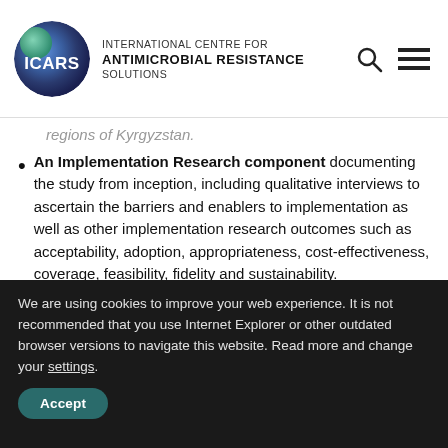INTERNATIONAL CENTRE FOR ANTIMICROBIAL RESISTANCE SOLUTIONS
…health care centres in the Chui and Jalal-Abad regions of Kyrgyzstan.
An Implementation Research component documenting the study from inception, including qualitative interviews to ascertain the barriers and enablers to implementation as well as other implementation research outcomes such as acceptability, adoption, appropriateness, cost-effectiveness, coverage, feasibility, fidelity and sustainability.
A health economic study to assess the
We are using cookies to improve your web experience. It is not recommended that you use Internet Explorer or other outdated browser versions to navigate this website. Read more and change your settings.